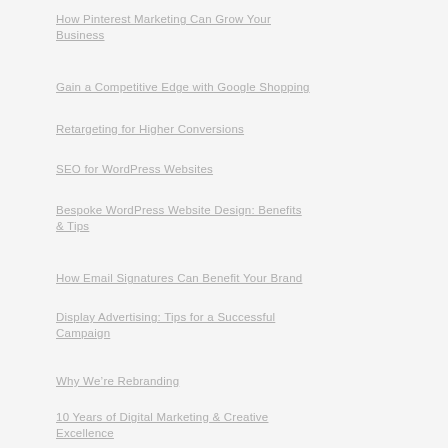How Pinterest Marketing Can Grow Your Business
Gain a Competitive Edge with Google Shopping
Retargeting for Higher Conversions
SEO for WordPress Websites
Bespoke WordPress Website Design: Benefits & Tips
How Email Signatures Can Benefit Your Brand
Display Advertising: Tips for a Successful Campaign
Why We're Rebranding
10 Years of Digital Marketing & Creative Excellence